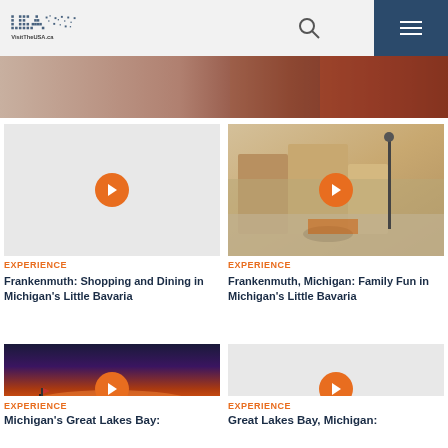VisitTheUSA.ca
[Figure (photo): Frankenmuth shopping area video thumbnail (blank/grey) with orange play button]
Experience
Frankenmuth: Shopping and Dining in Michigan's Little Bavaria
[Figure (photo): Frankenmuth Michigan street with European-style buildings and orange play button overlay]
Experience
Frankenmuth, Michigan: Family Fun in Michigan's Little Bavaria
[Figure (photo): Michigan's Great Lakes Bay sunset photo with boats and orange play button]
Experience
Michigan's Great Lakes Bay:
[Figure (photo): Great Lakes Bay Michigan video thumbnail (blank/grey) with orange play button]
Experience
Great Lakes Bay, Michigan: